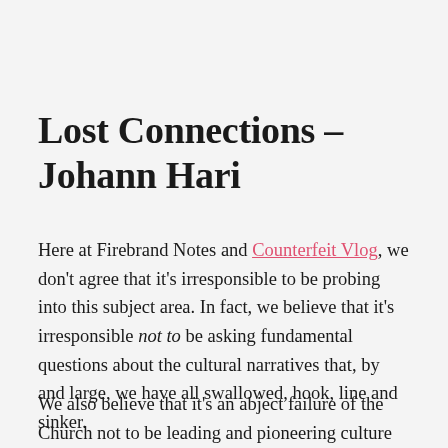Lost Connections – Johann Hari
Here at Firebrand Notes and Counterfeit Vlog, we don't agree that it's irresponsible to be probing into this subject area. In fact, we believe that it's irresponsible not to be asking fundamental questions about the cultural narratives that, by and large, we have all swallowed, hook, line and sinker.
We also believe that it's an abject failure of the Church not to be leading and pioneering culture in the way that she is ordained to when secular, unbelieving social